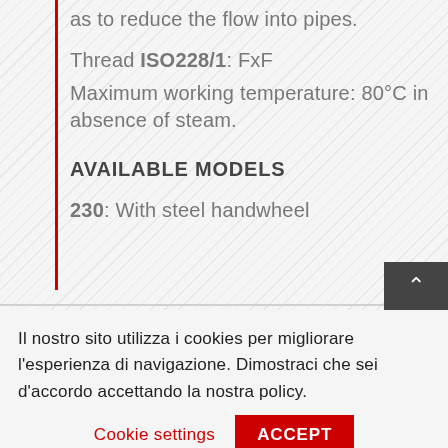as to reduce the flow into pipes.
Thread ISO228/1: FxF
Maximum working temperature: 80°C in absence of steam.
AVAILABLE MODELS
230: With steel handwheel
Il nostro sito utilizza i cookies per migliorare l'esperienza di navigazione. Dimostraci che sei d'accordo accettando la nostra policy.  Cookie settings  ACCEPT